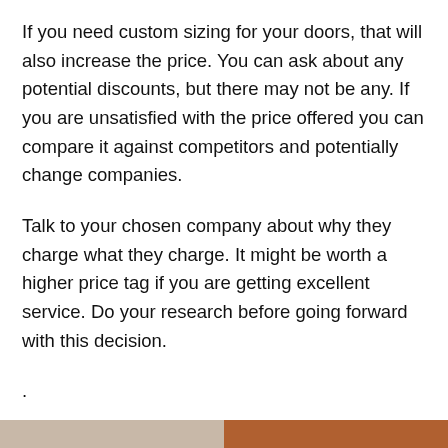If you need custom sizing for your doors, that will also increase the price. You can ask about any potential discounts, but there may not be any. If you are unsatisfied with the price offered you can compare it against competitors and potentially change companies.
Talk to your chosen company about why they charge what they charge. It might be worth a higher price tag if you are getting excellent service. Do your research before going forward with this decision.
.